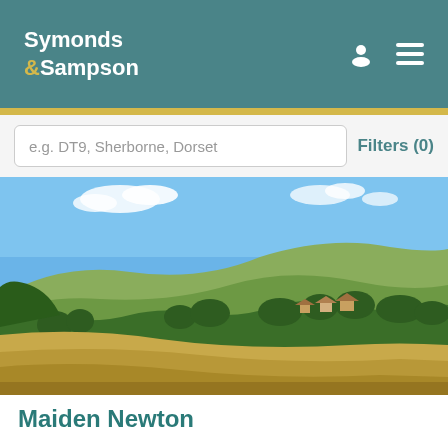Symonds & Sampson
e.g. DT9, Sherborne, Dorset
Filters (0)
[Figure (photo): Landscape photo of a golden wheat/crop field in the foreground with rolling green hills, trees, and scattered houses in the background under a bright blue sky with light clouds.]
Maiden Newton